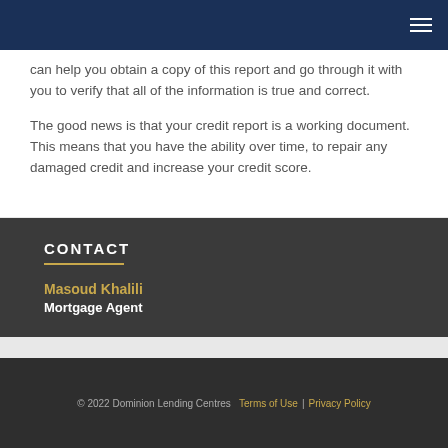Navigation header with hamburger menu
can help you obtain a copy of this report and go through it with you to verify that all of the information is true and correct.
The good news is that your credit report is a working document. This means that you have the ability over time, to repair any damaged credit and increase your credit score.
CONTACT
Masoud Khalili
Mortgage Agent
© 2022 Dominion Lending Centres   Terms of Use  |  Privacy Policy